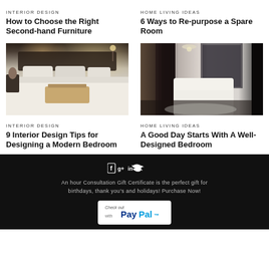INTERIOR DESIGN
How to Choose the Right Second-hand Furniture
HOME LIVING IDEAS
6 Ways to Re-purpose a Spare Room
[Figure (photo): Bedroom with white bedding and wooden breakfast tray on bed, warm lighting]
[Figure (photo): Elegant bedroom with dark curtains, chandelier, and white tufted furniture]
INTERIOR DESIGN
9 Interior Design Tips for Designing a Modern Bedroom
HOME LIVING IDEAS
A Good Day Starts With A Well-Designed Bedroom
An hour Consultation Gift Certificate is the perfect gift for birthdays, thank you's and holidays! Purchase Now!
[Figure (logo): Check out with PayPal button]